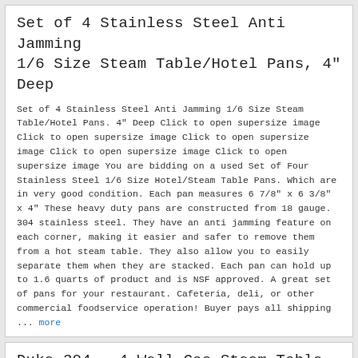Set of 4 Stainless Steel Anti Jamming 1/6 Size Steam Table/Hotel Pans, 4" Deep
Set of 4 Stainless Steel Anti Jamming 1/6 Size Steam Table/Hotel Pans. 4" Deep Click to open supersize image Click to open supersize image Click to open supersize image Click to open supersize image Click to open supersize image You are bidding on a used Set of Four Stainless Steel 1/6 Size Hotel/Steam Table Pans. Which are in very good condition. Each pan measures 6 7/8" x 6 3/8" x 4" These heavy duty pans are constructed from 18 gauge. 304 stainless steel. They have an anti jamming feature on each corner, making it easier and safer to remove them from a hot steam table. They also allow you to easily separate them when they are stacked. Each pan can hold up to 1.6 quarts of product and is NSF approved. A great set of pans for your restaurant. Cafeteria, deli, or other commercial foodservice operation! Buyer pays all shipping ... more
Duke 304 - 4 Well Gas Steam Table w/ Water Pans - Refurbished
Welcome to MARCH EQUIPMENT The Midwest's Premier Pre-Owned Restaurant Equipment Dealer Serving the USA and Rest of World Here's a fine steam table from the inventor of steam tables. Duke. This is the 304 model, from their Aerohot line. It measures 58" x 22" x 34" and has 4 wells, each with its own temperature control. You also get a set of water pans to go with the table. So, you'll have everything you